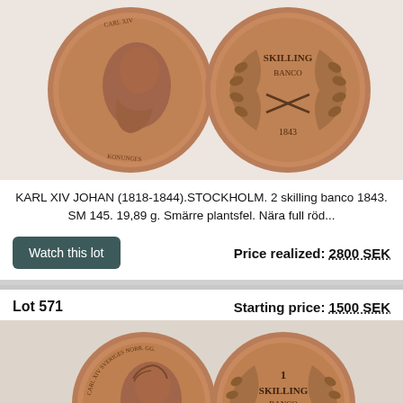[Figure (photo): Two copper coins shown side by side: obverse with portrait of Carl XIV Johan and reverse with '2 SKILLING BANCO 1843' text surrounded by laurel wreath]
KARL XIV JOHAN (1818-1844).STOCKHOLM. 2 skilling banco 1843. SM 145. 19,89 g. Smärre plantsfel. Nära full röd...
Watch this lot
Price realized: 2800 SEK
Lot 571
Starting price: 1500 SEK
[Figure (photo): Two copper coins shown side by side: obverse with portrait of Carl XIV Sveriges Norrige Konunges and reverse with '1 SKILLING BANCO 1835' surrounded by laurel wreath]